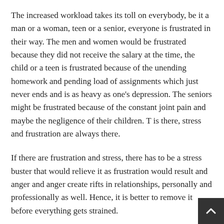The increased workload takes its toll on everybody, be it a man or a woman, teen or a senior, everyone is frustrated in their way. The men and women would be frustrated because they did not receive the salary at the time, the child or a teen is frustrated because of the unending homework and pending load of assignments which just never ends and is as heavy as one's depression. The seniors might be frustrated because of the constant joint pain and maybe the negligence of their children. T is there, stress and frustration are always there.
If there are frustration and stress, there has to be a stress buster that would relieve it as frustration would result and anger and anger create rifts in relationships, personally and professionally as well. Hence, it is better to remove it before everything gets strained.
Sex has been a very good stress-buster in every aspect. It removes the sexual tension which is one of the major causes of stress and makes one satisfied and chilled out. Since everyone cannot ge